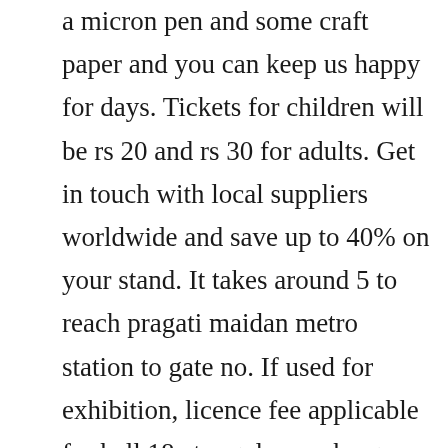a micron pen and some craft paper and you can keep us happy for days. Tickets for children will be rs 20 and rs 30 for adults. Get in touch with local suppliers worldwide and save up to 40% on your stand. It takes around 5 to reach pragati maidan metro station to gate no. If used for exhibition, licence fee applicable for hall 18 at regular ac charges will apply. Pragati maidan new delhi 2020 what to know before you. As compared to last year, this year visitors need to spend inr 10 more. Book fair 2015 book fair exhibition,